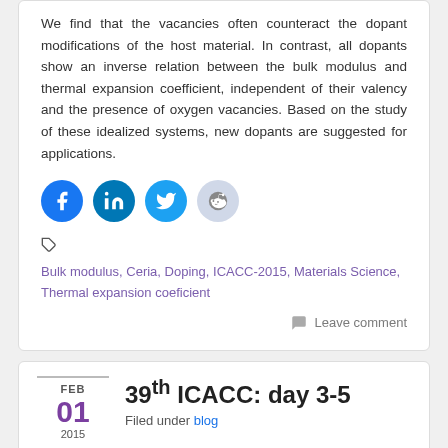We find that the vacancies often counteract the dopant modifications of the host material. In contrast, all dopants show an inverse relation between the bulk modulus and thermal expansion coefficient, independent of their valency and the presence of oxygen vacancies. Based on the study of these idealized systems, new dopants are suggested for applications.
[Figure (other): Social media share buttons: Facebook, LinkedIn, Twitter, Reddit]
Bulk modulus, Ceria, Doping, ICACC-2015, Materials Science, Thermal expansion coeficient
Leave comment
FEB 01 2015
39th ICACC: day 3-5
Filed under blog